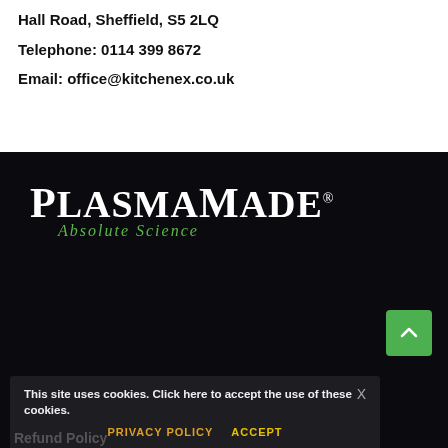Hall Road, Sheffield, S5 2LQ
Telephone: 0114 399 8672
Email: office@kitchenex.co.uk
[Figure (logo): PlasmaMade logo with registered trademark symbol. Main text 'PlasmaMade' in bold white serif font, subtitle 'Absolute Science' in green italic font below, on dark background.]
This site uses cookies. Click here to accept the use of these cookies.
PRIVACY POLICY   ACCEPT
Refund Policy